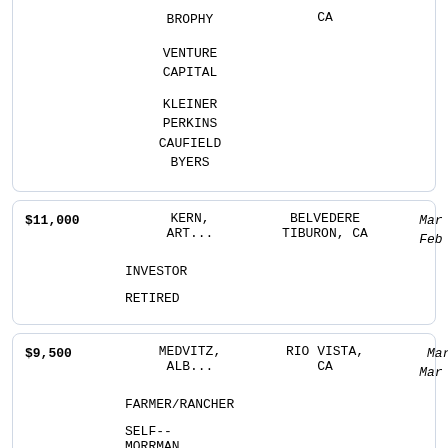| Amount | Name | City/State | Dates |
| --- | --- | --- | --- |
|  | BROPHY | CA |  |
|  | VENTURE CAPITAL |  |  |
|  | KLEINER PERKINS CAUFIELD BYERS |  |  |
| $11,000 | KERN, ART... | BELVEDERE TIBURON, CA | Mar 13 2017 / Feb 27 2019 |
|  | INVESTOR |  |  |
|  | RETIRED |  |  |
| $9,500 | MEDVITZ, ALB... | RIO VISTA, CA | Mar 9 2018 / Mar 29 2019 |
|  | FARMER/RANCHER |  |  |
|  | SELF-- MORRMAN... |  |  |